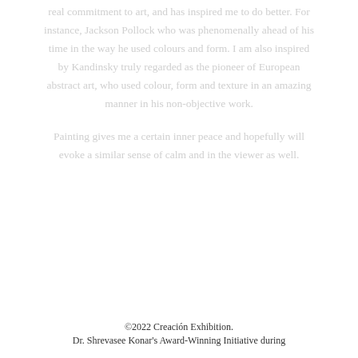real commitment to art, and has inspired me to do better. For instance, Jackson Pollock who was phenomenally ahead of his time in the way he used colours and form. I am also inspired by Kandinsky truly regarded as the pioneer of European abstract art, who used colour, form and texture in an amazing manner in his non-objective work. Painting gives me a certain inner peace and hopefully will evoke a similar sense of calm and in the viewer as well.
©2022 Creación Exhibition.
Dr. Shrevasee Konar's Award-Winning Initiative during